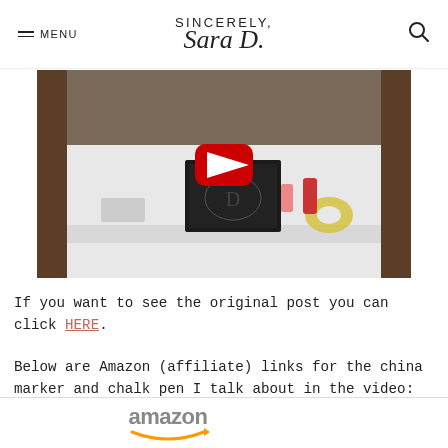SINCERELY, Sara D.
[Figure (screenshot): YouTube video thumbnail showing a white table with craft supplies including a chalkboard, chalk pen, and tape. A red YouTube play button is overlaid in the center.]
If you want to see the original post you can click HERE.
Below are Amazon (affiliate) links for the china marker and chalk pen I talk about in the video:
[Figure (logo): Amazon logo with orange smile arrow beneath grey text]